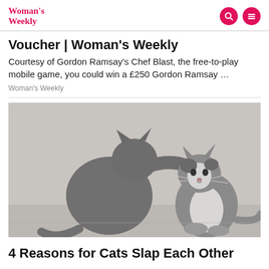Woman's Weekly
Voucher | Woman's Weekly
Courtesy of Gordon Ramsay's Chef Blast, the free-to-play mobile game, you could win a £250 Gordon Ramsay …
Woman's Weekly
[Figure (photo): Two grey and white cats facing each other; one cat has its paw raised and touching the face of the other cat. They are sitting on a light grey floor against a light grey background.]
4 Reasons for Cats Slap Each Other